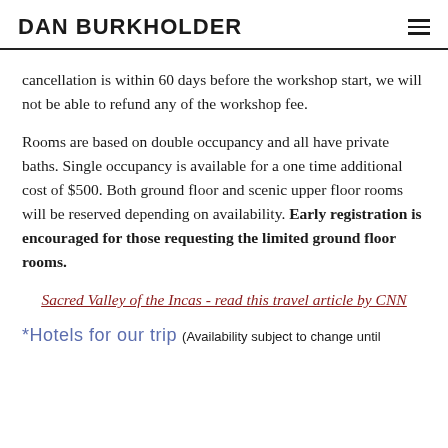DAN BURKHOLDER
cancellation is within 60 days before the workshop start, we will not be able to refund any of the workshop fee.
Rooms are based on double occupancy and all have private baths. Single occupancy is available for a one time additional cost of $500. Both ground floor and scenic upper floor rooms will be reserved depending on availability. Early registration is encouraged for those requesting the limited ground floor rooms.
Sacred Valley of the Incas - read this travel article by CNN
*Hotels for our trip (Availability subject to change until